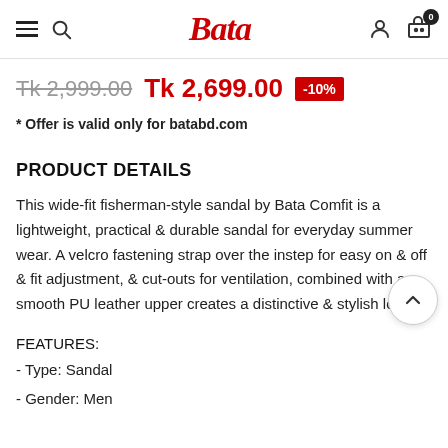Bata
Tk 2,999.00  Tk 2,699.00  -10%
* Offer is valid only for batabd.com
PRODUCT DETAILS
This wide-fit fisherman-style sandal by Bata Comfit is a lightweight, practical & durable sandal for everyday summer wear. A velcro fastening strap over the instep for easy on & off & fit adjustment, & cut-outs for ventilation, combined with a smooth PU leather upper creates a distinctive & stylish look.
FEATURES:
- Type: Sandal
- Gender: Men